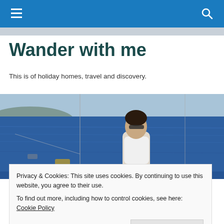Navigation bar with hamburger menu and search icon
Wander with me
This is of holiday homes, travel and discovery.
[Figure (photo): Woman smiling on a sailing boat at sea, mountains visible in background, blue water, wearing white top and sunglasses]
Privacy & Cookies: This site uses cookies. By continuing to use this website, you agree to their use.
To find out more, including how to control cookies, see here: Cookie Policy
Close and accept